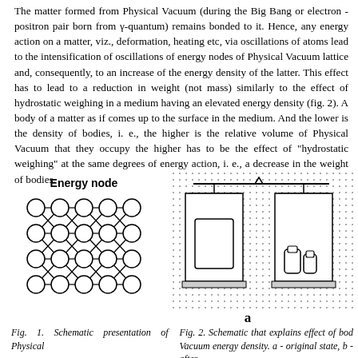The matter formed from Physical Vacuum (during the Big Bang or electron - positron pair born from γ-quantum) remains bonded to it. Hence, any energy action on a matter, viz., deformation, heating etc, via oscillations of atoms lead to the intensification of oscillations of energy nodes of Physical Vacuum lattice and, consequently, to an increase of the energy density of the latter. This effect has to lead to a reduction in weight (not mass) similarly to the effect of hydrostatic weighing in a medium having an elevated energy density (fig. 2). A body of a matter as if comes up to the surface in the medium. And the lower is the density of bodies, i. e., the higher is the relative volume of Physical Vacuum that they occupy the higher has to be the effect of "hydrostatic weighing" at the same degrees of energy action, i. e., a decrease in the weight of bodies.
[Figure (schematic): Schematic diagram of Physical Vacuum energy lattice showing a 4x3 grid of circles (energy nodes) connected by diagonal lines forming a lattice structure. Labeled 'Energy node' at the top.]
[Figure (schematic): Schematic diagram showing a balance scale setup with two containers on a dotted background representing Physical Vacuum energy density. Left container is large rectangular, right container has smaller flask-shaped objects. A triangle (fulcrum) sits at the top center with a horizontal beam. State 'a' - original state shown.]
a
Fig. 1. Schematic presentation of Physical
Fig. 2. Schematic that explains effect of bod Vacuum energy density. a - original state, b - after